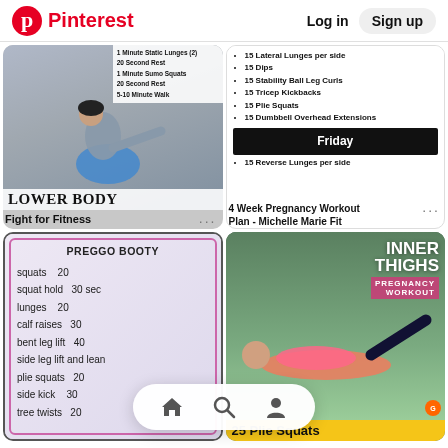Pinterest   Log in   Sign up
[Figure (photo): Person doing lower body exercise on exercise ball with text overlay 'Lower Body' and workout list]
Fight for Fitness
[Figure (infographic): 4 Week Pregnancy Workout Plan list including Friday exercises: 15 Lateral Lunges per side, 15 Dips, 15 Stability Ball Leg Curls, 15 Tricep Kickbacks, 15 Plie Squats, 15 Dumbbell Overhead Extensions, Friday header, 15 Reverse Lunges per side]
4 Week Pregnancy Workout Plan - Michelle Marie Fit
[Figure (infographic): Preggo Booty workout: squats 20, squat hold 30 sec, lunges 20, calf raises 30, bent leg lift 40, side leg lift and lean, plie squats 20, side kick 30, tree twists 20]
[Figure (photo): Inner Thighs Pregnancy Workout - woman lying on side doing leg raises outdoors, with text overlay '25 Plie Squats']